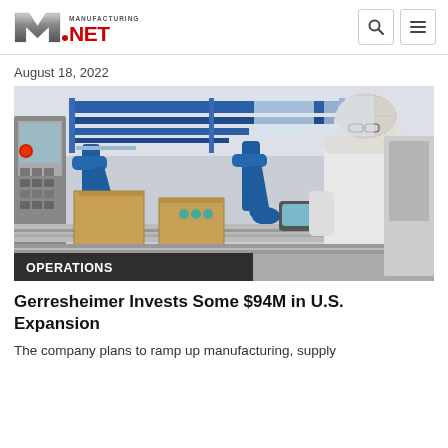Manufacturing.net
August 18, 2022
[Figure (photo): Factory floor scene with blue industrial robotic arms and a worker in white coat and hairnet operating a handheld controller near a conveyor line with cardboard boxes and small bottles]
OPERATIONS
Gerresheimer Invests Some $94M in U.S. Expansion
The company plans to ramp up manufacturing, supply